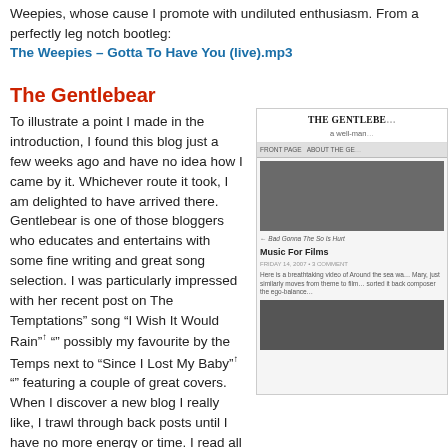Weepies, whose cause I promote with undiluted enthusiasm. From a perfectly leg notch bootleg:
The Weepies – Gotta To Have You (live).mp3
The Gentlebear
To illustrate a point I made in the introduction, I found this blog just a few weeks ago and have no idea how I came by it. Whichever route it took, I am delighted to have arrived there. Gentlebear is one of those bloggers who educates and entertains with some fine writing and great song selection. I was particularly impressed with her recent post on The Temptations" song "I Wish It Would Rain"↑ "" possibly my favourite by the Temps next to "Since I Lost My Baby"↑ "" featuring a couple of great covers. When I discover a new blog I really like, I trawl through back posts until I have no more energy or time. I read all of the ursine"s blog in one sitting (well, it goes back to only June, but the point sta... The song dedication comes from a 2005 charity compilation, War Child – Help: A... going to release a new comp in February 2009. Check it out.
[Figure (screenshot): Screenshot of The Gentlebear blog showing header 'THE GENTLEBE...' and 'a well-man...' subtitle, navigation bar, black and white photo, post titled 'Music For Films', post meta and text, and another dark photo below.]
Damien Rice – Cross-Eyed Bear.mp3
The beauty of la musique
A bilingual blog from Canada which takes as its theme
[Figure (other): Orange badge reading 'The beauty of la...']